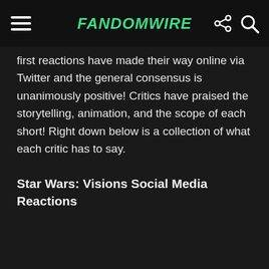FandomWire
first reactions have made their way online via Twitter and the general consensus is unanimously positive! Critics have praised the storytelling, animation, and the scope of each short! Right down below is a collection of what each critic has to say.
Star Wars: Visions Social Media Reactions